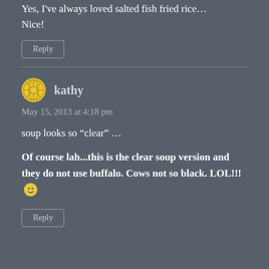Yes, I've always loved salted fish fried rice… Nice!
Reply
kathy
May 15, 2013 at 4:18 pm
soup looks so “clear” …
Of course lah...this is the clear soup version and they do not use buffalo. Cows not so black. LOL!!! 😀
Reply